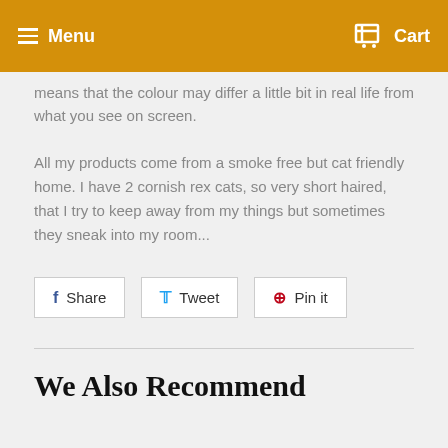Menu   Cart
means that the colour may differ a little bit in real life from what you see on screen.
All my products come from a smoke free but cat friendly home. I have 2 cornish rex cats, so very short haired, that I try to keep away from my things but sometimes they sneak into my room...
[Figure (other): Social share buttons: Share (Facebook), Tweet (Twitter), Pin it (Pinterest)]
We Also Recommend